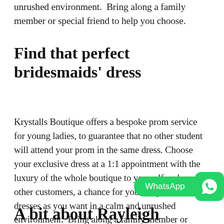unrushed environment.  Bring along a family member or special friend to help you choose.
Find that perfect bridesmaids' dress
Krystalls Boutique offers a bespoke prom service for young ladies, to guarantee that no other student will attend your prom in the same dress. Choose your exclusive dress at a 1:1 appointment with the luxury of the whole boutique to yourself and no other customers, a chance for you to try on as many dresses as you want in a calm and unrushed environment.  Bring along a family member or special friend to help you choose.
A bit about Rayleigh